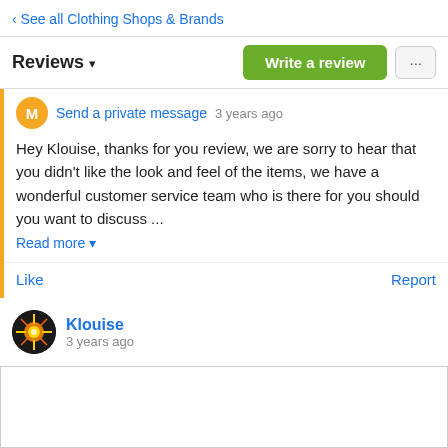‹ See all Clothing Shops & Brands
Reviews ▾
Send a private message
3 years ago
Hey Klouise, thanks for you review, we are sorry to hear that you didn't like the look and feel of the items, we have a wonderful customer service team who is there for you should you want to discuss ...
Read more ▾
Like    Report
Klouise
3 years ago
Sorry but for a store that doesn't offer refunds i won't even bother sending the items back as i don't wish for a store